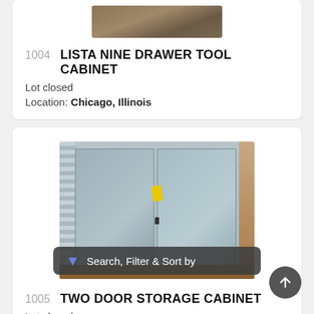[Figure (photo): Partial top image of a tool cabinet, cropped at top of page]
1004  LISTA NINE DRAWER TOOL CABINET
Lot closed
Location: Chicago, Illinois
[Figure (photo): Photo of a gray two-door storage cabinet with yellow tag, shown in a warehouse setting]
1005  TWO DOOR STORAGE CABINET
Lot closed
Location: Chicago, Illinois
Search, Filter & Sort by